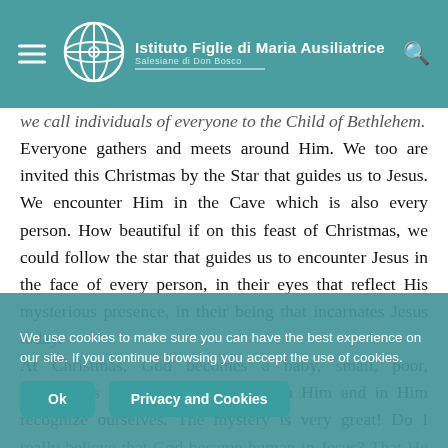Istituto Figlie di Maria Ausiliatrice — Salesiane di Don Bosco
we call individuals of everyone to the Child of Bethlehem. Everyone gathers and meets around Him. We too are invited this Christmas by the Star that guides us to Jesus. We encounter Him in the Cave which is also every person. How beautiful if on this feast of Christmas, we could follow the star that guides us to encounter Jesus in the face of every person, in their eyes that reflect His mysterious presence, in their being that incarnates Jesus today. At Christmas, God becomes a baby, small, poor, defenseless so that we can approach Him and in Him recognize ourselves. The mystery is very great! Do I really believe that God became human in Jesus? That He made Himself so humble to make Himself closer, more within our reach... Let us allow ourselves to be surprised by the Mystery!
We use cookies to make sure you can have the best experience on our site. If you continue browsing you accept the use of cookies.